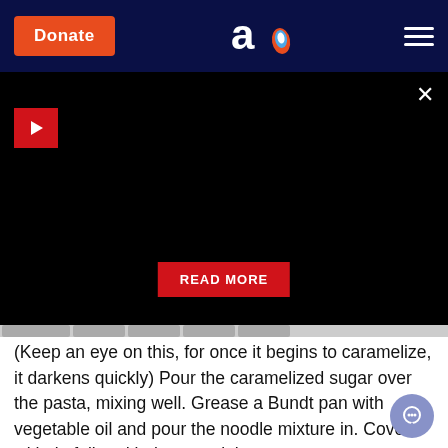Donate | [logo] | menu
[Figure (screenshot): Black video player area with play button (red square with white triangle) on left, close X button top right, red READ MORE button centered lower]
(Keep an eye on this, for once it begins to caramelize, it darkens quickly) Pour the caramelized sugar over the pasta, mixing well. Grease a Bundt pan with vegetable oil and pour the noodle mixture in. Cover with tin foil and bake overnight.
Alternately: bake kugel in a 350 degree F oven for one hour, uncovered.
For an old Sephardic Jerusalem variation, add to the